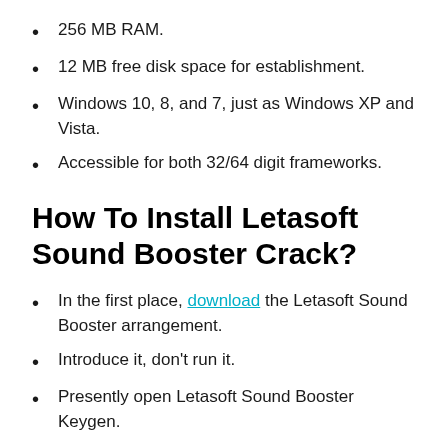256 MB RAM.
12 MB free disk space for establishment.
Windows 10, 8, and 7, just as Windows XP and Vista.
Accessible for both 32/64 digit frameworks.
How To Install Letasoft Sound Booster Crack?
In the first place, download the Letasoft Sound Booster arrangement.
Introduce it, don't run it.
Presently open Letasoft Sound Booster Keygen.
Then, at that point extricate it and snap to run.
Presently click Active Now.